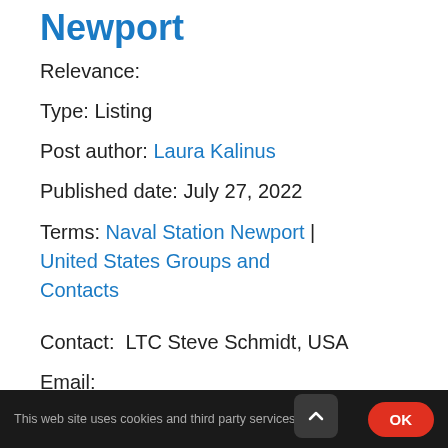Newport
Relevance:
Type: Listing
Post author: Laura Kalinus
Published date: July 27, 2022
Terms: Naval Station Newport | United States Groups and Contacts
Contact:  LTC Steve Schmidt, USA
Email:
This website uses cookies and third party services.